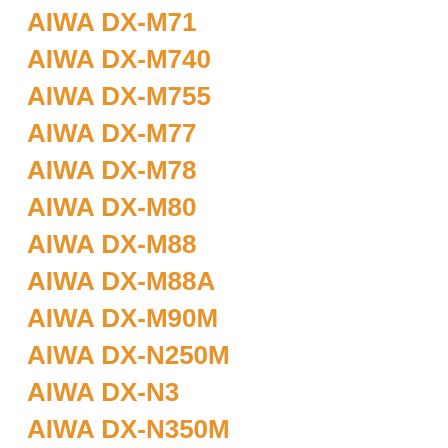AIWA DX-M71
AIWA DX-M740
AIWA DX-M755
AIWA DX-M77
AIWA DX-M78
AIWA DX-M80
AIWA DX-M88
AIWA DX-M88A
AIWA DX-M90M
AIWA DX-N250M
AIWA DX-N3
AIWA DX-N350M